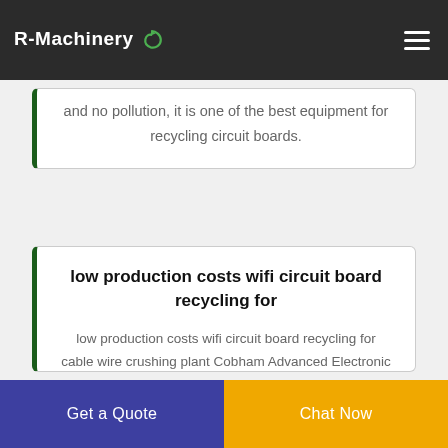R-Machinery
and no pollution, it is one of the best equipment for recycling circuit boards.
low production costs wifi circuit board recycling for
low production costs wifi circuit board recycling for cable wire crushing plant Cobham Advanced Electronic Solutions, Home / Overhead Cable Layer Stripper Manufacturers, Factory, Suppliers From China, Because we stay in this line about 10 years.